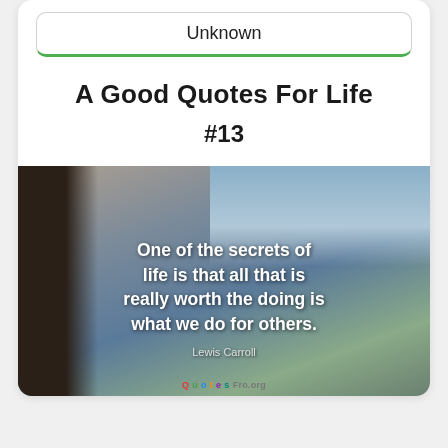Unknown
A Good Quotes For Life
#13
[Figure (photo): A photo taken from inside a train window showing a mountain landscape with sky and hills, overlaid with a quote in white bold text. Quote: 'One of the secrets of life is that all that is really worth the doing is what we do for others.' Author: Lewis Carroll. Bottom shows a colorful logo/watermark.]